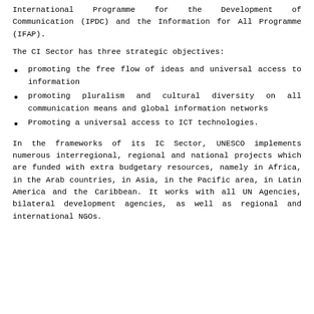International Programme for the Development of Communication (IPDC) and the Information for All Programme (IFAP).
The CI Sector has three strategic objectives:
promoting the free flow of ideas and universal access to information
promoting pluralism and cultural diversity on all communication means and global information networks
Promoting a universal access to ICT technologies.
In the frameworks of its IC Sector, UNESCO implements numerous interregional, regional and national projects which are funded with extra budgetary resources, namely in Africa, in the Arab countries, in Asia, in the Pacific area, in Latin America and the Caribbean. It works with all UN Agencies, bilateral development agencies, as well as regional and international NGOs.